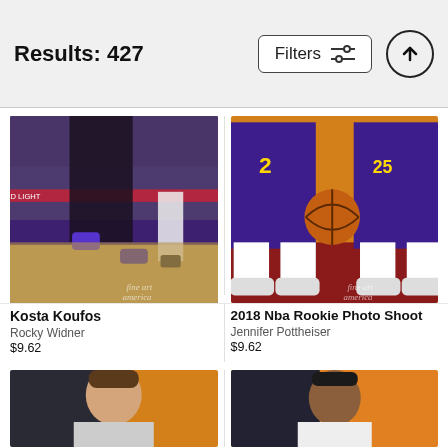Results: 427
[Figure (screenshot): Search results page header with Results: 427 text, Filters button with sliders icon, and upload/scroll-to-top button]
[Figure (photo): Basketball game photo showing player Kosta Koufos mid-air on court with crowd in background, fine art america watermark]
Kosta Koufos
Rocky Widner
$9.62
[Figure (photo): 2018 NBA rookie photo shoot showing two players in Phoenix Suns purple uniforms holding basketball, fine art america watermark]
2018 Nba Rookie Photo Shoot
Jennifer Pottheiser
$9.62
[Figure (photo): Young male basketball player portrait against dark/orange background, partially visible at bottom]
[Figure (photo): Basketball player smiling portrait against orange/yellow background, partially visible at bottom]